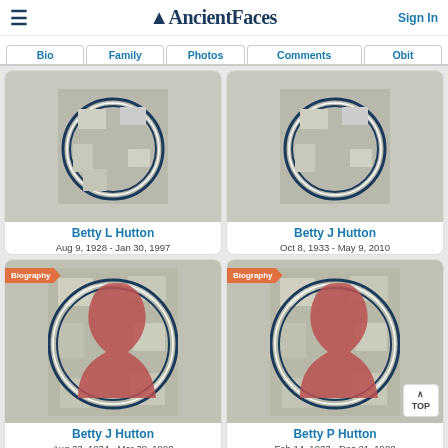AncientFaces
Bio | Family | Photos | Comments | Obit
Betty L Hutton
Aug 9, 1928 - Jan 30, 1997
Betty J Hutton
Oct 8, 1933 - May 9, 2010
[Figure (illustration): Profile silhouette placeholder with collage background for Betty J Hutton]
Betty J Hutton
Aug 23, 1934 - Mar 30, 1998
[Figure (illustration): Profile silhouette placeholder with collage background for Betty P Hutton]
Betty P Hutton
Feb 14, 1923 - Dec 21, 1988